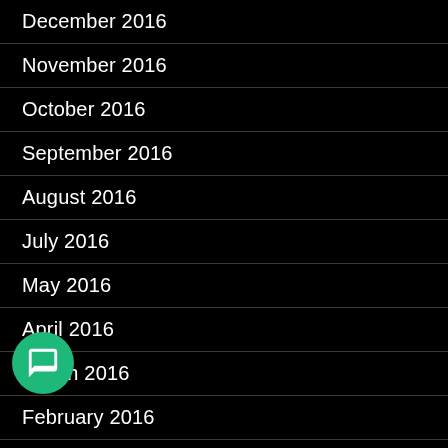December 2016
November 2016
October 2016
September 2016
August 2016
July 2016
May 2016
April 2016
March 2016
February 2016
January 2016
December 2015
November 2015